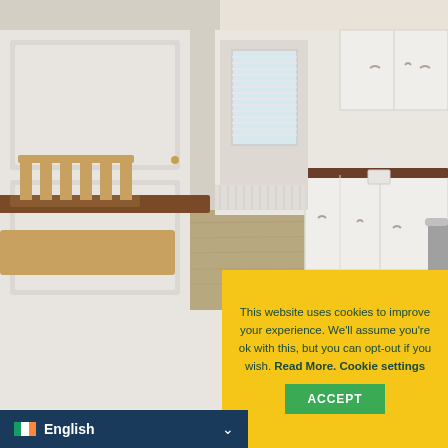[Figure (photo): Interior kitchen photo showing white cabinets along the right wall with a wooden countertop, wooden dining table and chair on the left, laminate wood flooring, a white door in the background, window with blinds, and a silver trash can.]
[Figure (photo): Close-up photo of lower white kitchen cabinets with silver handles.]
This website uses cookies to improve your experience. We'll assume you're ok with this, but you can opt-out if you wish. Read More. Cookie settings
ACCEPT
English